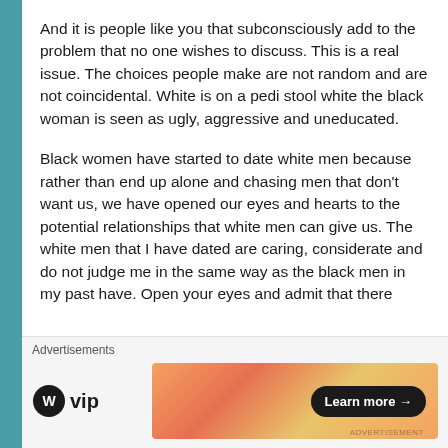And it is people like you that subconsciously add to the problem that no one wishes to discuss. This is a real issue. The choices people make are not random and are not coincidental. White is on a pedi stool white the black woman is seen as ugly, aggressive and uneducated.
Black women have started to date white men because rather than end up alone and chasing men that don't want us, we have opened our eyes and hearts to the potential relationships that white men can give us. The white men that I have dated are caring, considerate and do not judge me in the same way as the black men in my past have. Open your eyes and admit that there
Advertisements